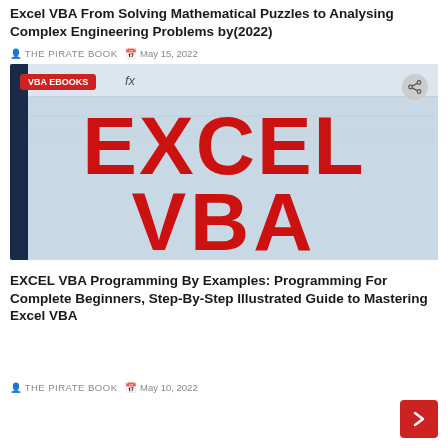Excel VBA From Solving Mathematical Puzzles to Analysing Complex Engineering Problems by(2022)
THE PIRATE BOOK   May 15, 2022
[Figure (photo): Book cover image showing 'EXCEL VBA' in large red bold letters on a light blue/grey background resembling an Excel spreadsheet. A red badge in top-left reads 'VBA EBOOKS' and a share icon button is in the top-right.]
EXCEL VBA Programming By Examples: Programming For Complete Beginners, Step-By-Step Illustrated Guide to Mastering Excel VBA
THE PIRATE BOOK   May 10, 2022